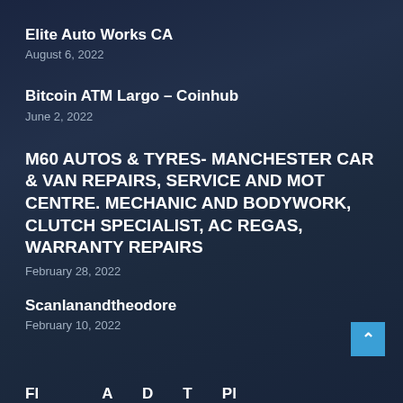Elite Auto Works CA
August 6, 2022
Bitcoin ATM Largo – Coinhub
June 2, 2022
M60 AUTOS & TYRES- MANCHESTER CAR & VAN REPAIRS, SERVICE AND MOT CENTRE. MECHANIC AND BODYWORK, CLUTCH SPECIALIST, AC REGAS, WARRANTY REPAIRS
February 28, 2022
Scanlanandtheodore
February 10, 2022